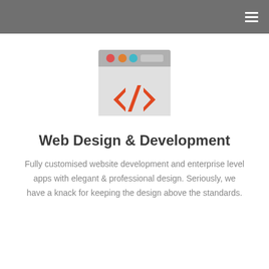[Figure (illustration): Web code editor window icon with red, orange, and teal dots in the title bar and a red HTML closing tag symbol </> in the body area on a light gray background]
Web Design & Development
Fully customised website development and enterprise level apps with elegant & professional design. Seriously, we have a knack for keeping the design above the standards.